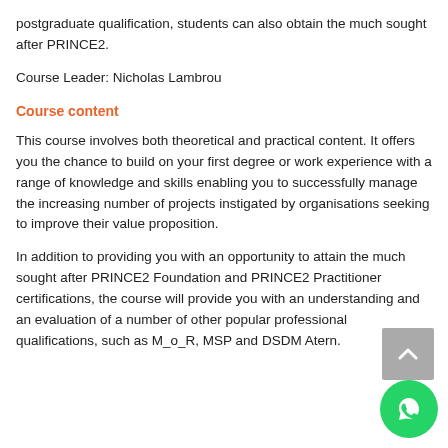postgraduate qualification, students can also obtain the much sought after PRINCE2.
Course Leader: Nicholas Lambrou
Course content
This course involves both theoretical and practical content. It offers you the chance to build on your first degree or work experience with a range of knowledge and skills enabling you to successfully manage the increasing number of projects instigated by organisations seeking to improve their value proposition.
In addition to providing you with an opportunity to attain the much sought after PRINCE2 Foundation and PRINCE2 Practitioner certifications, the course will provide you with an understanding and an evaluation of a number of other popular professional qualifications, such as M_o_R, MSP and DSDM Atern.